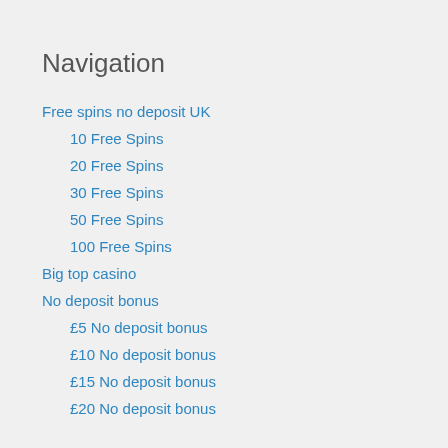Navigation
Free spins no deposit UK
10 Free Spins
20 Free Spins
30 Free Spins
50 Free Spins
100 Free Spins
Big top casino
No deposit bonus
£5 No deposit bonus
£10 No deposit bonus
£15 No deposit bonus
£20 No deposit bonus